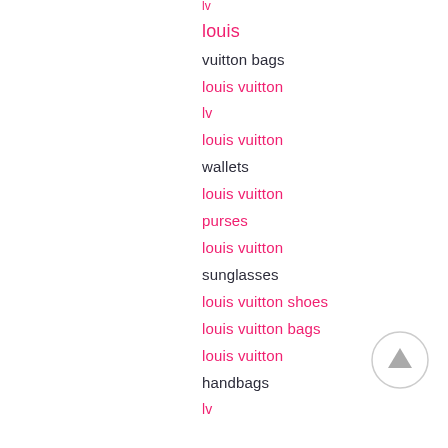lv
louis
vuitton bags
louis vuitton
lv
louis vuitton wallets
wallets
louis vuitton
purses
louis vuitton
sunglasses
louis vuitton shoes
louis vuitton bags
louis vuitton
handbags
lv